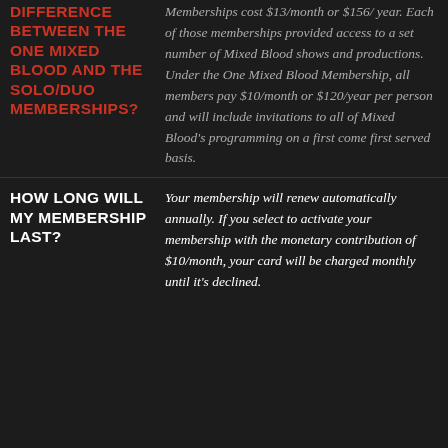DIFFERENCE BETWEEN THE ONE MIXED BLOOD AND THE SOLO/DUO MEMBERSHIPS?
Memberships cost $13/month or $156/ year. Each of those memberships provided access to a set number of Mixed Blood shows and productions. Under the One Mixed Blood Membership, all members pay $10/month or $120/year per person and will include invitations to all of Mixed Blood's programming on a first come first served basis.
HOW LONG WILL MY MEMBERSHIP LAST?
Your membership will renew automatically annually. If you select to activate your membership with the monetary contribution of $10/month, your card will be charged monthly until it's declined.